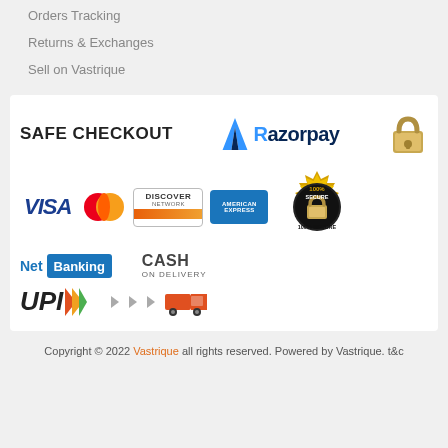Orders Tracking
Returns & Exchanges
Sell on Vastrique
[Figure (infographic): Safe Checkout banner with Razorpay logo, padlock, Visa, MasterCard, Discover, American Express logos, Net Banking, Cash on Delivery, UPI logos, and 100% Secure seal]
Copyright © 2022 Vastrique all rights reserved. Powered by Vastrique. t&c